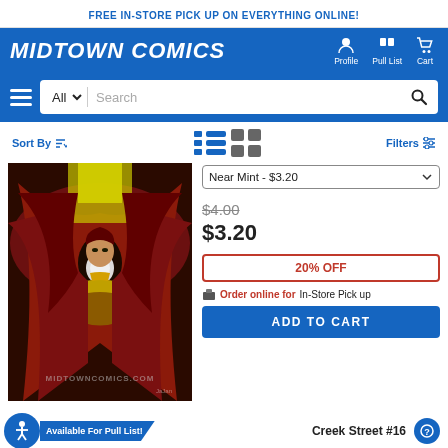FREE IN-STORE PICK UP ON EVERYTHING ONLINE!
[Figure (logo): Midtown Comics logo with navigation icons for Profile, Pull List, and Cart on blue background]
[Figure (screenshot): Search bar with All dropdown, Search input and search button on blue background with hamburger menu]
Sort By
Filters
[Figure (photo): Comic book cover artwork showing a female character in red and dark tones, Vampirella style]
Near Mint - $3.20
$4.00
$3.20
20% OFF
Order online for In-Store Pick up
ADD TO CART
Available For Pull List!
Creek Street #16